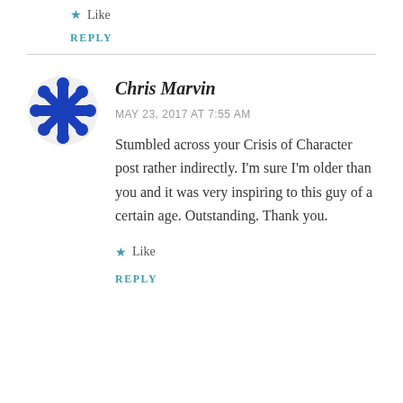Like
REPLY
[Figure (illustration): Blue snowflake/asterisk avatar icon for user Chris Marvin]
Chris Marvin
MAY 23, 2017 AT 7:55 AM
Stumbled across your Crisis of Character post rather indirectly. I'm sure I'm older than you and it was very inspiring to this guy of a certain age. Outstanding. Thank you.
Like
REPLY